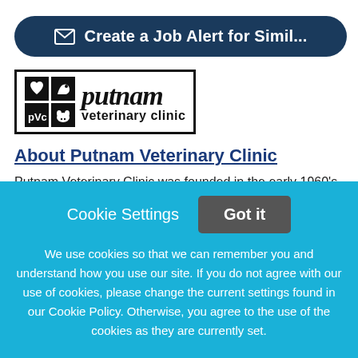[Figure (other): Dark blue rounded rectangle button with envelope icon and text 'Create a Job Alert for Simil...']
[Figure (logo): Putnam Veterinary Clinic logo — black border box with animal icons and italic putnam text with 'veterinary clinic' below]
About Putnam Veterinary Clinic
Putnam Veterinary Clinic was founded in the early 1960's by Dr. Putnam. Dr. Nick DuLong and his wife, Shira took over the clinic in 2011 are only the third owners of
Cookie Settings  Got it
We use cookies so that we can remember you and understand how you use our site. If you do not agree with our use of cookies, please change the current settings found in our Cookie Policy. Otherwise, you agree to the use of the cookies as they are currently set.